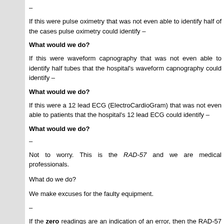–
If this were pulse oximetry that was not even able to identify half of the cases pulse oximetry could identify –
What would we do?
If this were waveform capnography that was not even able to identify half tubes that the hospital's waveform capnography could identify –
What would we do?
If this were a 12 lead ECG (ElectroCardioGram) that was not even able to patients that the hospital's 12 lead ECG could identify –
What would we do?
–
Not to worry. This is the RAD-57 and we are medical professionals.
What do we do?
We make excuses for the faulty equipment.
–
If the zero readings are an indication of an error, then the RAD-57 should be FAIL